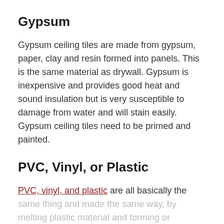Gypsum
Gypsum ceiling tiles are made from gypsum, paper, clay and resin formed into panels. This is the same material as drywall. Gypsum is inexpensive and provides good heat and sound insulation but is very susceptible to damage from water and will stain easily. Gypsum ceiling tiles need to be primed and painted.
PVC, Vinyl, or Plastic
PVC, vinyl, and plastic are all basically the same thing and made the same way, by melting plastic material and forming or